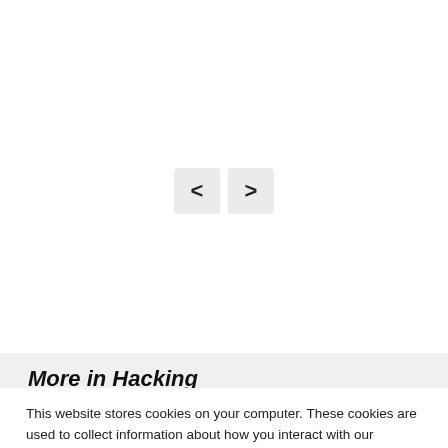[Figure (other): Navigation previous/next arrow buttons (< and >) rendered as gray rounded rectangles]
More in Hacking
This website stores cookies on your computer. These cookies are used to collect information about how you interact with our website and allow us to remember you. We use this information in order to improve and customize your browsing experience and for analytics and metrics about our visitors both on this website and other media. To find out more about the cookies we use, see our Privacy Policy. California residents have the right to direct us not to sell their personal information to third parties by filing an Opt-Out Request: Do Not Sell My Personal Info.